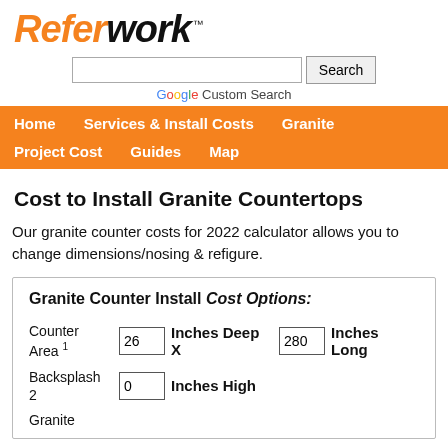[Figure (logo): ReferWork logo with orange italic REFER and black italic WORK text, with TM superscript]
[Figure (screenshot): Google Custom Search bar with Search button]
Home  Services & Install Costs  Granite  Project Cost
Guides  Map
Cost to Install Granite Countertops
Our granite counter costs for 2022 calculator allows you to change dimensions/nosing & refigure.
Granite Counter Install Cost Options:
Counter Area 1  26 Inches Deep X 280 Inches Long
Backsplash 2  0 Inches High
Granite